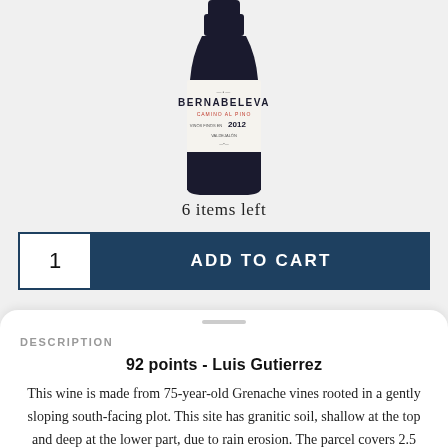[Figure (photo): Wine bottle with Bernabeleva label, 2012 vintage, showing top half of bottle with white label on dark bottle]
6 items left
1  ADD TO CART
DESCRIPTION
92 points - Luis Gutierrez
This wine is made from 75-year-old Grenache vines rooted in a gently sloping south-facing plot. This site has granitic soil, shallow at the top and deep at the lower part, due to rain erosion. The parcel covers 2.5 hectares, with 2,000